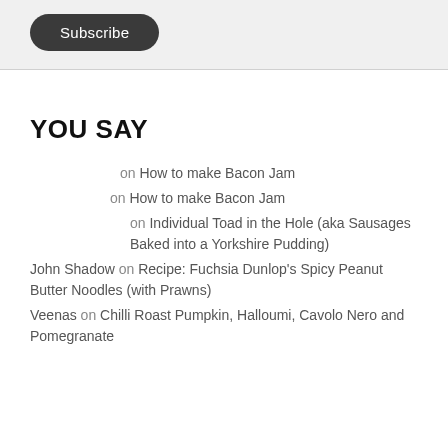[Figure (other): Subscribe button — dark rounded rectangle with white text]
YOU SAY
on How to make Bacon Jam
on How to make Bacon Jam
on Individual Toad in the Hole (aka Sausages Baked into a Yorkshire Pudding)
John Shadow on Recipe: Fuchsia Dunlop's Spicy Peanut Butter Noodles (with Prawns)
Veenas on Chilli Roast Pumpkin, Halloumi, Cavolo Nero and Pomegranate